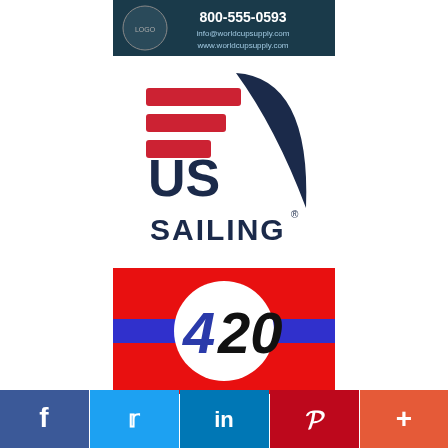[Figure (logo): World Cup Supply banner: dark teal background, phone number 800-555-0593, info@worldcupsupply.com, www.worldcupsupply.com]
[Figure (logo): US Sailing logo: red/white horizontal stripes with dark blue sail shape and 'US SAILING' text in dark navy]
[Figure (logo): 420 class sailing logo: red rectangle with blue horizontal stripe, white circle containing '420' in blue and black]
[Figure (infographic): Social media sharing bar with Facebook, Twitter, LinkedIn, Pinterest, and More buttons]